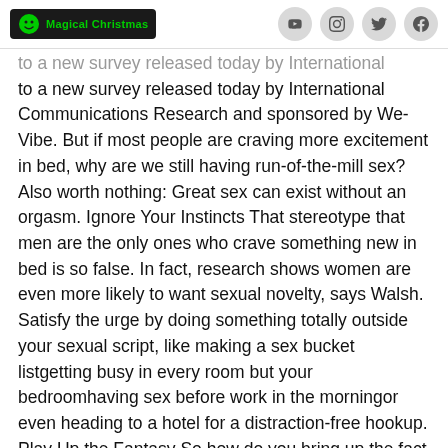Magical Christmas [logo] [social icons: YouTube, Instagram, Twitter, Facebook]
to a new survey released today by International Communications Research and sponsored by We-Vibe. But if most people are craving more excitement in bed, why are we still having run-of-the-mill sex? Also worth nothing: Great sex can exist without an orgasm. Ignore Your Instincts That stereotype that men are the only ones who crave something new in bed is so false. In fact, research shows women are even more likely to want sexual novelty, says Walsh. Satisfy the urge by doing something totally outside your sexual script, like making a sex bucket listgetting busy in every room but your bedroomhaving sex before work in the morningor even heading to a hotel for a distraction-free hookup. Play Up the Fantasy So how do you bring up the fact that you want to try a new position or light bondage?
But you thought you finally nailed the dating game in your 20s, it might feel frustrating and overwhelming a long time